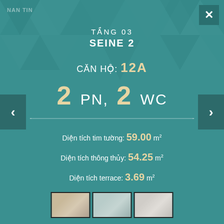NAN TIN
TẦNG 03
SEINE 2
CĂN HỘ: 12A
2 PN, 2 WC
Diện tích tim tường: 59.00 m²
Diện tích thông thủy: 54.25 m²
Diện tích terrace: 3.69 m²
[Figure (photo): Thumbnail strip showing 3 apartment interior/floor plan photos at the bottom of the screen]